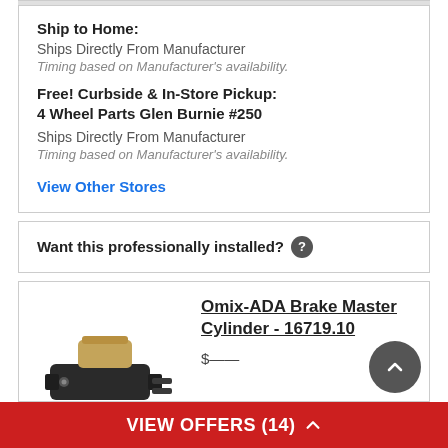Ship to Home: Ships Directly From Manufacturer Timing based on Manufacturer's availability.
Free! Curbside & In-Store Pickup: 4 Wheel Parts Glen Burnie #250 Ships Directly From Manufacturer Timing based on Manufacturer's availability.
View Other Stores
Want this professionally installed? ?
Omix-ADA Brake Master Cylinder - 16719.10
VIEW OFFERS (14)